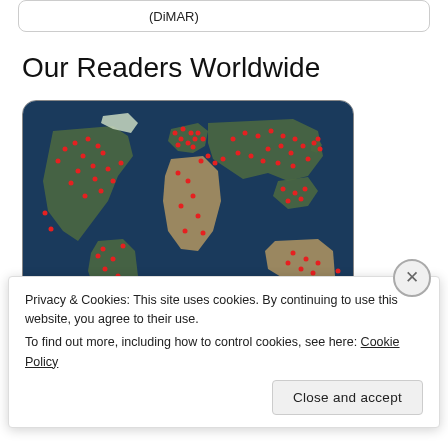(DiMAR)
Our Readers Worldwide
[Figure (map): World map with red dots indicating reader locations globally, dense clusters in Europe, North America, and coastal Asia. RM logo badge in lower left corner.]
Privacy & Cookies: This site uses cookies. By continuing to use this website, you agree to their use.
To find out more, including how to control cookies, see here: Cookie Policy
Close and accept